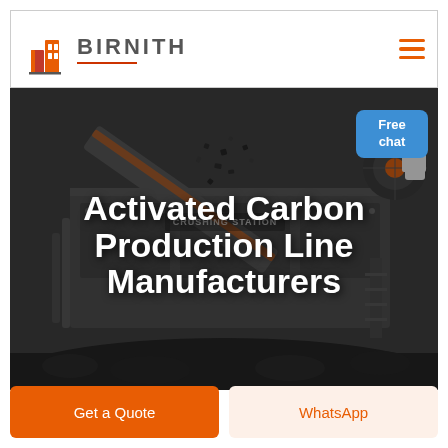[Figure (logo): Birnith company logo with orange building icon and brand name BIRNITH in grey letters with red underline, plus hamburger menu icon]
[Figure (photo): Industrial crushing station machinery with coal/carbon material being processed, dark industrial background with heavy equipment]
Activated Carbon Production Line Manufacturers
Get a Quote
WhatsApp